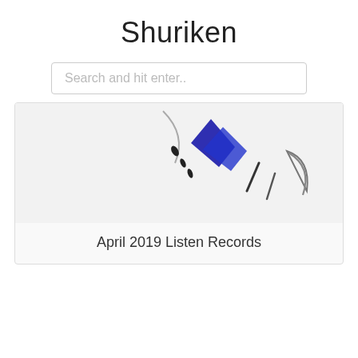Shuriken
Search and hit enter..
[Figure (illustration): Partial view of a Shuriken (throwing star) illustration — shows stylized dark blue diagonal shapes and small black marks on a light background, cropped at top]
April 2019 Listen Records